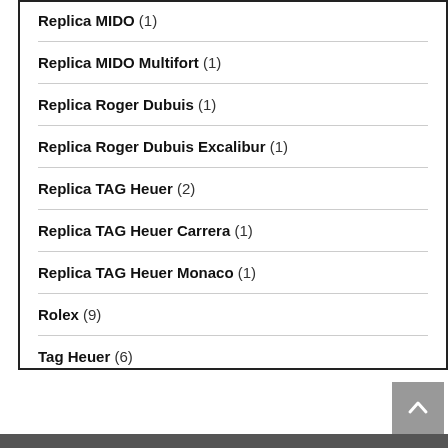Replica MIDO (1)
Replica MIDO Multifort (1)
Replica Roger Dubuis (1)
Replica Roger Dubuis Excalibur (1)
Replica TAG Heuer (2)
Replica TAG Heuer Carrera (1)
Replica TAG Heuer Monaco (1)
Rolex (9)
Tag Heuer (6)